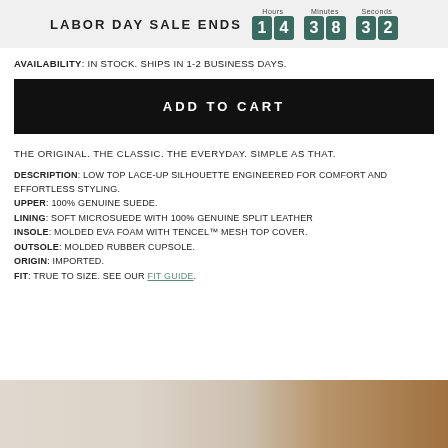LABOR DAY SALE ENDS 14 38 32
AVAILABILITY: IN STOCK. SHIPS IN 1-2 BUSINESS DAYS.
ADD TO CART
THE ORIGINAL. THE CLASSIC. THE EVERYDAY. SIMPLE AS THAT.
DESCRIPTION: LOW TOP LACE-UP SILHOUETTE ENGINEERED FOR COMFORT AND EFFORTLESS STYLING. UPPER: 100% GENUINE SUEDE. LINING: SOFT MICROSUEDE WITH 100% GENUINE SPLIT LEATHER INSOLE: MOLDED EVA FOAM WITH TENCEL™ MESH TOP COVER. OUTSOLE: MOLDED RUBBER CUPSOLE. ORIGIN: IMPORTED. FIT: TRUE TO SIZE. SEE OUR FIT GUIDE.
[Figure (photo): Bottom portion of page showing a shoe product photo with light cream/neutral tones and tan/brown on the right side]